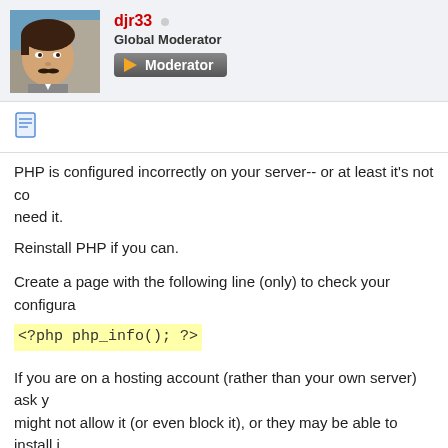[Figure (photo): Profile photo of user djr33, a young man with dark hair and mustache, outdoors near stone structures]
djr33 ○ Global Moderator
[Figure (illustration): Moderator badge button with orange play arrow and text 'Moderator' on dark gradient background]
[Figure (illustration): Document/post icon]
PHP is configured incorrectly on your server-- or at least it's not co... need it.
Reinstall PHP if you can.
Create a page with the following line (only) to check your configura...
<?php php_info(); ?>
If you are on a hosting account (rather than your own server) ask y... might not allow it (or even block it), or they may be able to install i...
Daniel - Freelance Web Design | <?php?> | <html>| español | Deutsch | italiano | portugu... knowledge of several other languages: I can sometimes help translate here on DD | Linguist...